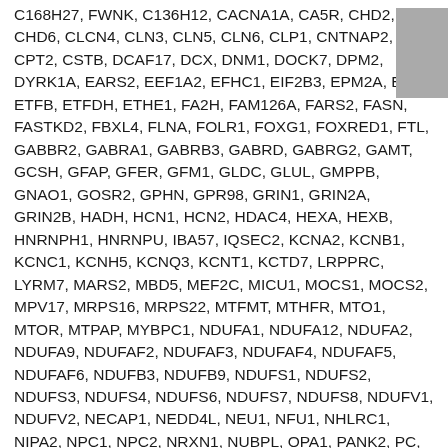C168H27, FWNK, C136H12, CACNA1A, CA5R, CHD2, CHD6, CLCN4, CLN3, CLN5, CLN6, CLP1, CNTNAP2, CP, CPT2, CSTB, DCAF17, DCX, DNM1, DOCK7, DPM2, DYRK1A, EARS2, EEF1A2, EFHC1, EIF2B3, EPM2A, ETFA, ETFB, ETFDH, ETHE1, FA2H, FAM126A, FARS2, FASN, FASTKD2, FBXL4, FLNA, FOLR1, FOXG1, FOXRED1, FTL, GABBR2, GABRA1, GABRB3, GABRD, GABRG2, GAMT, GCSH, GFAP, GFER, GFM1, GLDC, GLUL, GMPPB, GNAO1, GOSR2, GPHN, GPR98, GRIN1, GRIN2A, GRIN2B, HADH, HCN1, HCN2, HDAC4, HEXA, HEXB, HNRNPH1, HNRNPU, IBA57, IQSEC2, KCNA2, KCNB1, KCNC1, KCNH5, KCNQ3, KCNT1, KCTD7, LRPPRC, LYRM7, MARS2, MBD5, MEF2C, MICU1, MOCS1, MOCS2, MPV17, MRPS16, MRPS22, MTFMT, MTHFR, MTO1, MTOR, MTPAP, MYBPC1, NDUFA1, NDUFA12, NDUFA2, NDUFA9, NDUFAF2, NDUFAF3, NDUFAF4, NDUFAF5, NDUFAF6, NDUFB3, NDUFB9, NDUFS1, NDUFS2, NDUFS3, NDUFS4, NDUFS6, NDUFS7, NDUFS8, NDUFV1, NDUFV2, NECAP1, NEDD4L, NEU1, NFU1, NHLRC1, NIPA2, NPC1, NPC2, NRXN1, NUBPL, OPA1, PANK2, PC, PDHA1, PDHB, PDHX, PDP1, PDSS1, PDSS2, PHGDH, PIGA, PIK3AP1, PLA2G6, PLCB1, PLP1, PNKP, PNPO, PNPT1, POLG, POLR3A, POLR3B, PPT1, PPT2, PRICKLE1, PRICKLE2, PRRT2,